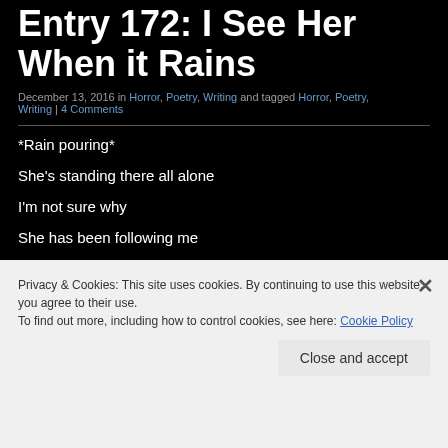Entry 172: I See Her When it Rains
December 13, 2016 in Horror, Poetry, Writing and tagged Horror, Poetry, Writing | 4 Comments
*Rain pouring*
She’s standing there all alone
I’m not sure why
She has been following me
I feel despair
Privacy & Cookies: This site uses cookies. By continuing to use this website, you agree to their use. To find out more, including how to control cookies, see here: Cookie Policy
Close and accept